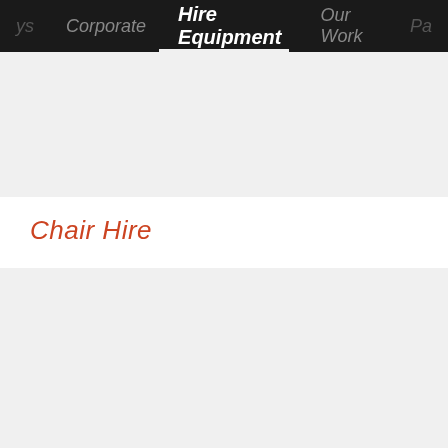ys  Corporate  Hire Equipment  Our Work  Pa
Chair Hire